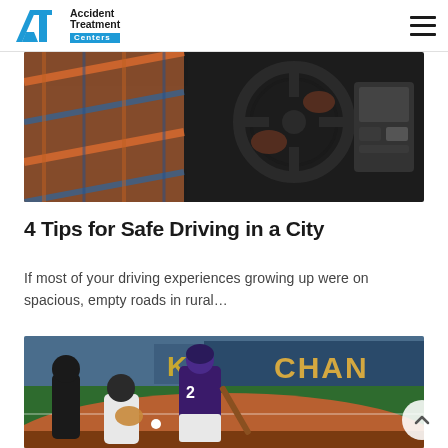Accident Treatment Centers
[Figure (photo): Close-up photo of a person's hands on a car steering wheel, with dashboard visible in background]
4 Tips for Safe Driving in a City
If most of your driving experiences growing up were on spacious, empty roads in rural...
[Figure (photo): Baseball game photo showing a batter in purple uniform swinging, catcher crouching, and umpire, with stadium signage in background]